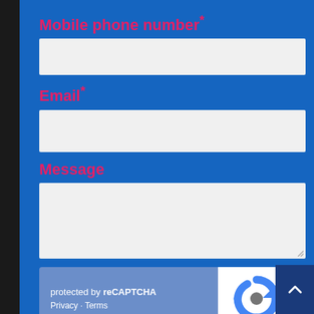Mobile phone number*
[Figure (screenshot): Empty text input field for mobile phone number]
Email*
[Figure (screenshot): Empty text input field for email]
Message
[Figure (screenshot): Empty textarea field for message with resize handle]
[Figure (screenshot): reCAPTCHA widget showing 'protected by reCAPTCHA', Privacy - Terms links, and reCAPTCHA logo]
[Figure (screenshot): Orange Submit button]
[Figure (screenshot): Scroll to top button with upward chevron arrow in dark blue]